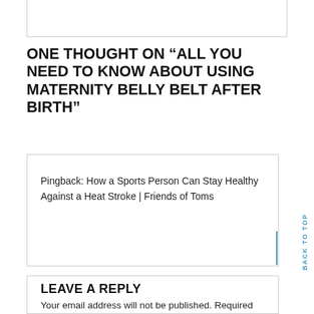ONE THOUGHT ON “ALL YOU NEED TO KNOW ABOUT USING MATERNITY BELLY BELT AFTER BIRTH”
Pingback: How a Sports Person Can Stay Healthy Against a Heat Stroke | Friends of Toms
LEAVE A REPLY
Your email address will not be published. Required fields are marked *